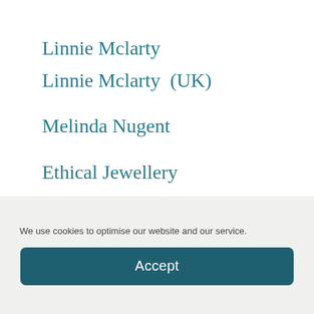Linnie Mclarty
Linnie Mclarty  (UK)
Melinda Nugent
Ethical Jewellery
Australia Pty Ltd
We use cookies to optimise our website and our service.
Accept